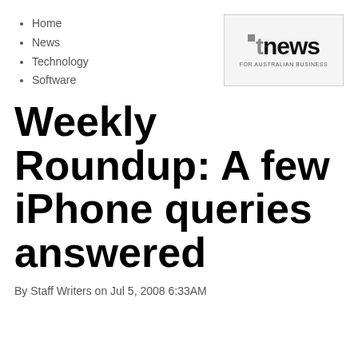Home
News
Technology
Software
[Figure (logo): iTnews FOR AUSTRALIAN BUSINESS logo in grey box]
Weekly Roundup: A few iPhone queries answered
By Staff Writers on Jul 5, 2008 6:33AM